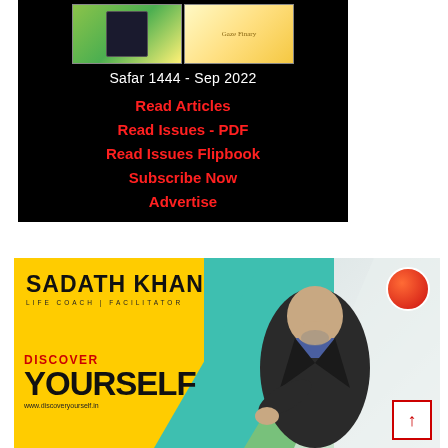[Figure (screenshot): Black background banner showing magazine cover thumbnails at top]
Safar 1444 - Sep 2022
Read Articles
Read Issues - PDF
Read Issues Flipbook
Subscribe Now
Advertise
[Figure (advertisement): Sadath Khan Life Coach Facilitator - Discover Yourself advertisement with person pointing at viewer, www.discoveryourself.in]